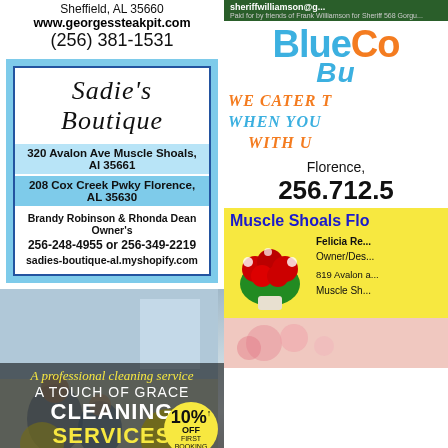Sheffield, AL 35660
www.georgessteakpit.com
(256) 381-1531
[Figure (infographic): Sadie's Boutique advertisement with light blue striped background and blue bordered white inner box. Contains boutique name in script font, two addresses, owner names, phone numbers, and website.]
[Figure (infographic): A Touch of Grace Cleaning Services advertisement with room background image, yellow text overlay, 10% off first booking circle badge.]
[Figure (infographic): Right column top: Sheriff ad with green header, sheriffwilliamson@g... email, paid for by friends text.]
[Figure (infographic): Blue Cow Bu(rger) logo and advertisement - partially visible on right side. Orange and blue text. WE CATER T... WHEN YOU... WITH U... text in orange italic. Florence, 256.712.5... phone number.]
[Figure (infographic): Muscle Shoals Flo(rist) advertisement on yellow background with red roses bouquet image, Felicia Re... Owner/Des... text, 819 Avalon address.]